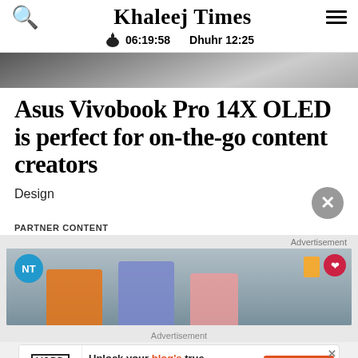Khaleej Times — 06:19:58  Dhuhr 12:25
[Figure (photo): Partial cropped photo at top of article, dark tones, partially visible]
Asus Vivobook Pro 14X OLED is perfect for on-the-go content creators
Design
PARTNER CONTENT
Advertisement
[Figure (photo): Advertisement video thumbnail showing cyclists wearing helmets, with NT logo badge on left and heart/play badge on right]
Advertisement
[Figure (other): Bottom banner advertisement for Word Monetize: 'Unlock your blog's true revenue potential' with GET STARTED button]